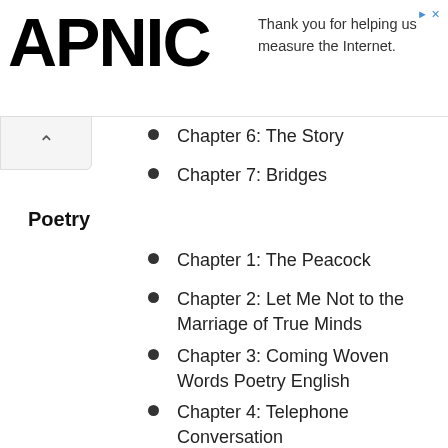APNIC — Thank you for helping us measure the Internet.
Chapter 6: The Story
Chapter 7: Bridges
Poetry
Chapter 1: The Peacock
Chapter 2: Let Me Not to the Marriage of True Minds
Chapter 3: Coming Woven Words Poetry English
Chapter 4: Telephone Conversation
Chapter 5: The World is Too Much With Us
Chapter 6: Mother Tongue
Chapter 7: Hawk Roosting
Chapter 8: Elkana